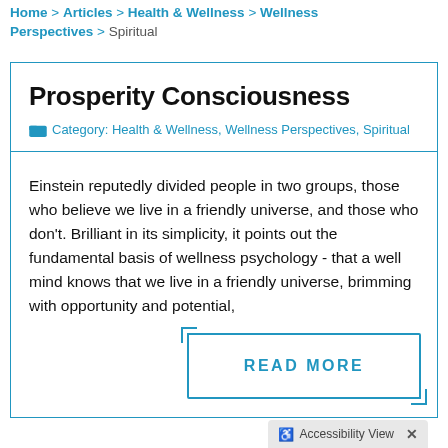Home > Articles > Health & Wellness > Wellness Perspectives > Spiritual
Prosperity Consciousness
Category: Health & Wellness, Wellness Perspectives, Spiritual
Einstein reputedly divided people in two groups, those who believe we live in a friendly universe, and those who don't. Brilliant in its simplicity, it points out the fundamental basis of wellness psychology - that a well mind knows that we live in a friendly universe, brimming with opportunity and potential,
READ MORE
Accessibility View  X